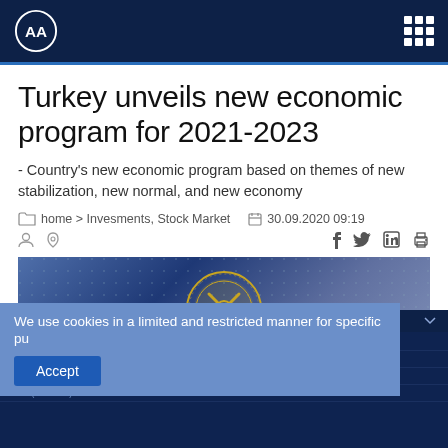AA (Anadolu Agency) — navigation header with logo and grid menu
Turkey unveils new economic program for 2021-2023
- Country's new economic program based on themes of new stabilization, new normal, and new economy
home > Invesments, Stock Market   30.09.2020 09:19
[Figure (photo): Blue background image with gold emblem/seal, possibly Turkish Treasury seal, with an expand button]
We use cookies in a limited and restricted manner for specific pu
Accept